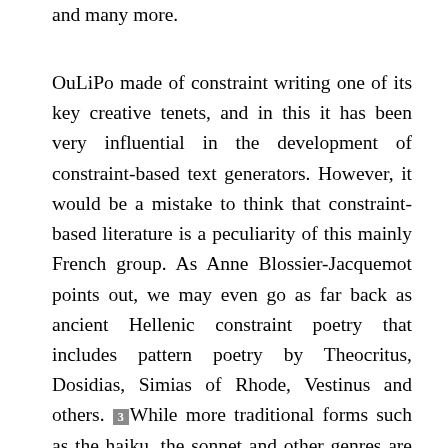and many more.
OuLiPo made of constraint writing one of its key creative tenets, and in this it has been very influential in the development of constraint-based text generators. However, it would be a mistake to think that constraint-based literature is a peculiarity of this mainly French group. As Anne Blossier-Jacquemot points out, we may even go as far back as ancient Hellenic constraint poetry that includes pattern poetry by Theocritus, Dosidias, Simias of Rhode, Vestinus and others. [3] While more traditional forms such as the haiku, the sonnet and other genres are also constraint poems to a certain extent, what distinguishes OuLiPo and othe